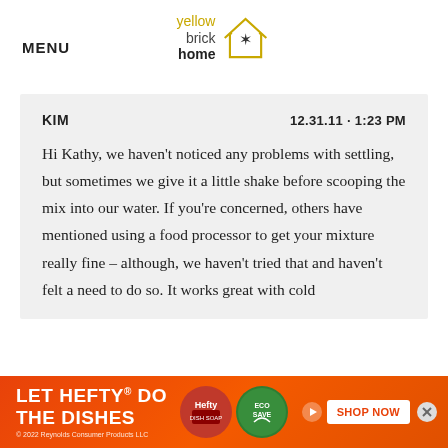MENU
[Figure (logo): Yellow Brick Home logo with house outline and star]
KIM
12.31.11 · 1:23 PM

Hi Kathy, we haven't noticed any problems with settling, but sometimes we give it a little shake before scooping the mix into our water. If you're concerned, others have mentioned using a food processor to get your mixture really fine – although, we haven't tried that and haven't felt a need to do so. It works great with cold
[Figure (infographic): Advertisement banner: LET HEFTY DO THE DISHES with product images and SHOP NOW button. © 2022 Reynolds Consumer Products LLC]